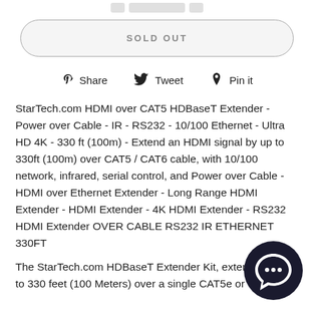[Figure (other): Small icon/button area at top center of page]
SOLD OUT
Share  Tweet  Pin it
StarTech.com HDMI over CAT5 HDBaseT Extender - Power over Cable - IR - RS232 - 10/100 Ethernet - Ultra HD 4K - 330 ft (100m) - Extend an HDMI signal by up to 330ft (100m) over CAT5 / CAT6 cable, with 10/100 network, infrared, serial control, and Power over Cable - HDMI over Ethernet Extender - Long Range HDMI Extender - HDMI Extender - 4K HDMI Extender - RS232 HDMI Extender OVER CABLE RS232 IR ETHERNET 330FT
The StarTech.com HDBaseT Extender Kit, extends all up to 330 feet (100 Meters) over a single CAT5e or CAT6